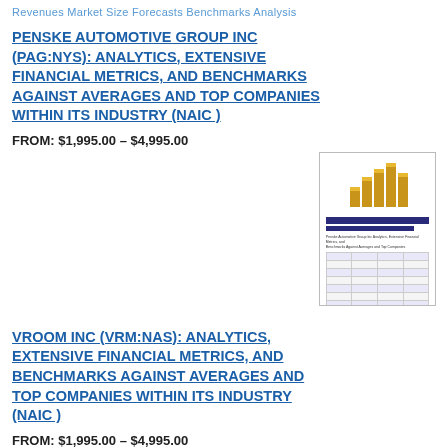Revenues Market Size Forecasts Benchmarks Analysis
PENSKE AUTOMOTIVE GROUP INC (PAG:NYS): ANALYTICS, EXTENSIVE FINANCIAL METRICS, AND BENCHMARKS AGAINST AVERAGES AND TOP COMPANIES WITHIN ITS INDUSTRY (NAIC )
FROM: $1,995.00 – $4,995.00
[Figure (illustration): Thumbnail image of a financial report document showing a cover with golden bar chart icons and a preview of financial tables inside.]
VROOM INC (VRM:NAS): ANALYTICS, EXTENSIVE FINANCIAL METRICS, AND BENCHMARKS AGAINST AVERAGES AND TOP COMPANIES WITHIN ITS INDUSTRY (NAIC )
FROM: $1,995.00 – $4,995.00